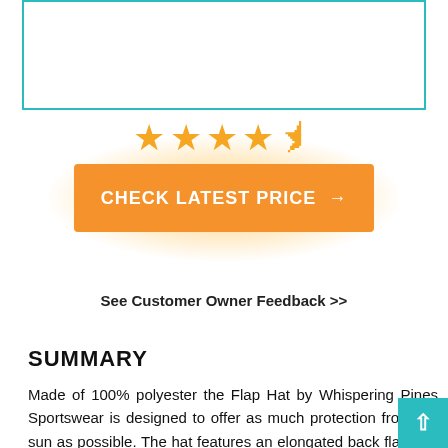[Figure (other): Top image box with teal border, partially visible product image]
[Figure (other): Star rating: 4.5 out of 5 stars in gold/yellow]
[Figure (other): Orange button with glow effect: CHECK LATEST PRICE →]
See Customer Owner Feedback >>
SUMMARY
Made of 100% polyester the Flap Hat by Whispering Pines Sportswear is designed to offer as much protection from the sun as possible. The hat features an elongated back flap that connects to the extra-wide